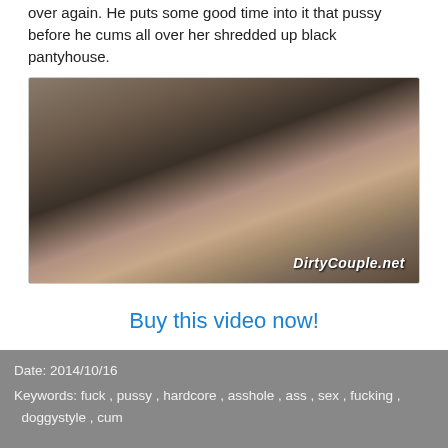over again. He puts some good time into it that pussy before he cums all over her shredded up black pantyhouse.
[Figure (photo): Adult content photo with watermark DirtyCouple.net]
Buy this video now!
Date: 2014/10/16
Keywords: fuck , pussy , hardcore , asshole , ass , sex , fucking , doggystyle , cum